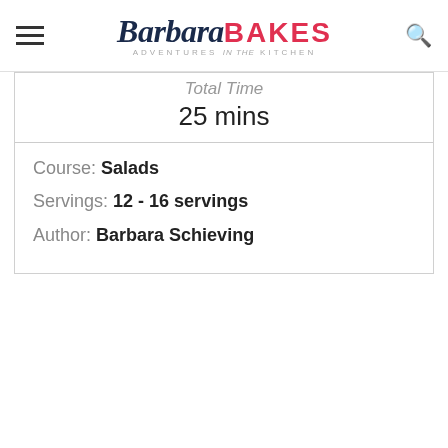Barbara BAKES ADVENTURES in the KITCHEN
Total Time
25 mins
Course: Salads
Servings: 12 - 16 servings
Author: Barbara Schieving